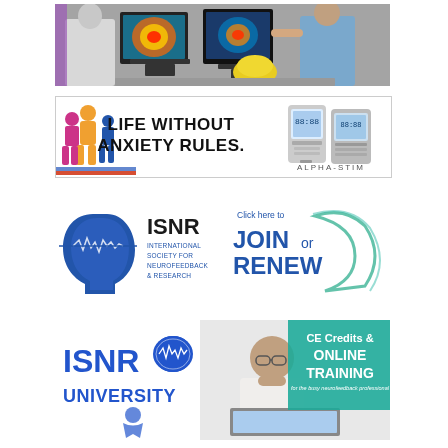[Figure (photo): Grayscale photo of two people (a man in white shirt and a woman in blue) working at computers displaying colorful brain scan images, with an EEG cap visible on the desk.]
[Figure (illustration): Alpha-Stim advertisement banner with colorful silhouettes of people on the left, bold text 'LIFE WITHOUT ANXIETY RULES.' in the center, and images of Alpha-Stim devices on the right with the brand name 'ALPHA-STIM' at bottom right.]
[Figure (logo): ISNR logo: blue silhouette of a human head with brain wave activity, 'ISNR' in large text, 'INTERNATIONAL SOCIETY FOR NEUROFEEDBACK & RESEARCH' below in smaller text.]
[Figure (illustration): ISNR membership call-to-action: 'Click here to JOIN OR RENEW' with a teal/green swoosh graphic.]
[Figure (logo): ISNR University logo: 'ISNR' in blue with a brain icon, 'UNIVERSITY' below in blue text.]
[Figure (photo): Photo of a man in white shirt looking at a laptop with text 'CE Credits & ONLINE TRAINING for the busy neurofeedback professional' overlaid in teal/green.]